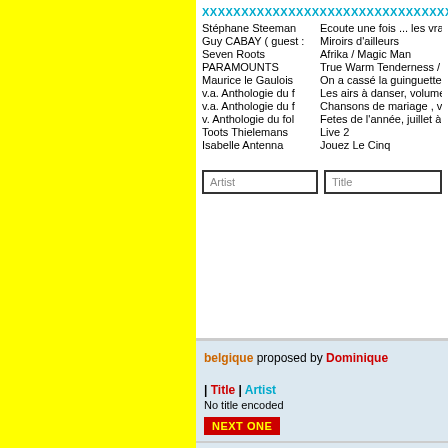XXXXXXXXXXXXXXXXXXXXXXXXXXXXXXXXXXXXXXXXXXXXXXXXXXXXXXXXXXXXXXXX
| Artist | Title |
| --- | --- |
| Stéphane Steeman | Ecoute une fois ... les vrai |
| Guy CABAY ( guest : | Miroirs d'ailleurs |
| Seven Roots | Afrika / Magic Man |
| PARAMOUNTS | True Warm Tenderness / M |
| Maurice le Gaulois | On a cassé la guinguette |
| v.a. Anthologie du f | Les airs à danser, volume |
| v.a. Anthologie du f | Chansons de mariage , vo |
| v. Anthologie du fol | Fetes de l'année, juillet à |
| Toots Thielemans | Live 2 |
| Isabelle Antenna | Jouez Le Cinq |
Artist | Title (input fields)
belgique proposed by Dominique
| Title | Artist
No title encoded
NEXT ONE
https://www.youtube.com/watch?v=zaIm30tO7Xo